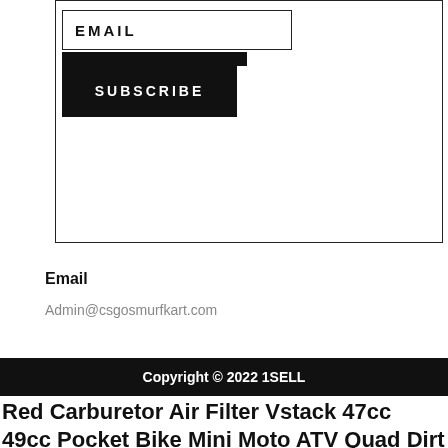[Figure (screenshot): Email subscribe widget with EMAIL label in a bordered box, a black bar, and a SUBSCRIBE button in black]
Email
Admin@csgosmurfkart.com
Copyright © 2022 1SELL
Red Carburetor Air Filter Vstack 47cc 49cc Pocket Bike Mini Moto ATV Quad Dirt
Auto Parts & Accessories Red Carburetor Air Filter Vstack 47cc 49cc Pocket Bike Mini Moto ATV Quad Dirt Motorcycle Parts, FREE gifts & price promise Free shipping for many products Find many great new &